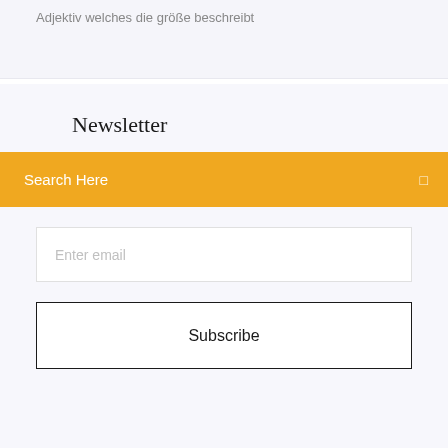Adjektiv welches die größe beschreibt
Newsletter
Search Here
Enter email
Subscribe